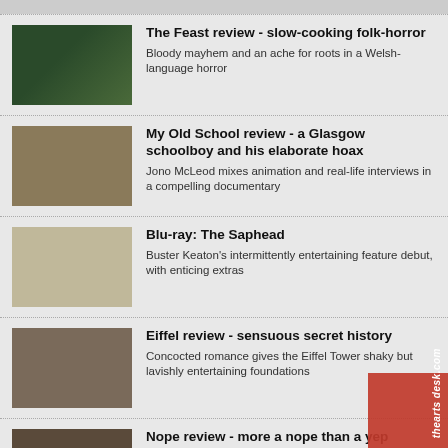The Feast review - slow-cooking folk-horror | Bloody mayhem and an ache for roots in a Welsh-language horror
My Old School review - a Glasgow schoolboy and his elaborate hoax | Jono McLeod mixes animation and real-life interviews in a compelling documentary
Blu-ray: The Saphead | Buster Keaton's intermittently entertaining feature debut, with enticing extras
Eiffel review - sensuous secret history | Concocted romance gives the Eiffel Tower shaky but lavishly entertaining foundations
Nope review - more a nope than a yep | Jordan Peele fails to reach his own extremely high bar in a so-so genre mashup